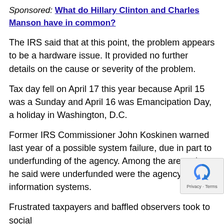Sponsored: What do Hillary Clinton and Charles Manson have in common?
The IRS said that at this point, the problem appears to be a hardware issue. It provided no further details on the cause or severity of the problem.
Tax day fell on April 17 this year because April 15 was a Sunday and April 16 was Emancipation Day, a holiday in Washington, D.C.
Former IRS Commissioner John Koskinen warned last year of a possible system failure, due in part to underfunding of the agency. Among the areas that he said were underfunded were the agency's aging information systems.
Frustrated taxpayers and baffled observers took to social